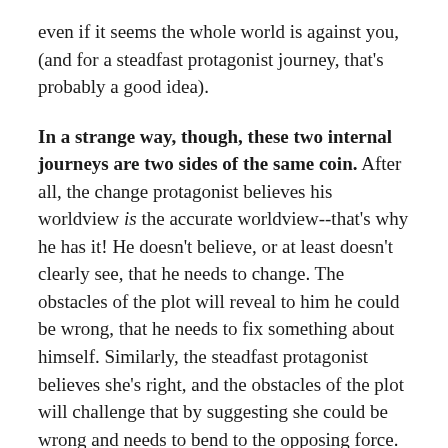even if it seems the whole world is against you, (and for a steadfast protagonist journey, that's probably a good idea).
In a strange way, though, these two internal journeys are two sides of the same coin. After all, the change protagonist believes his worldview is the accurate worldview--that's why he has it! He doesn't believe, or at least doesn't clearly see, that he needs to change. The obstacles of the plot will reveal to him he could be wrong, that he needs to fix something about himself. Similarly, the steadfast protagonist believes she's right, and the obstacles of the plot will challenge that by suggesting she could be wrong and needs to bend to the opposing force.